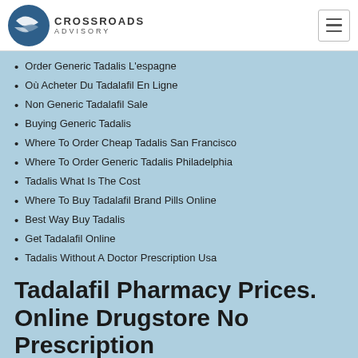CROSSROADS ADVISORY
Order Generic Tadalis L'espagne
Où Acheter Du Tadalafil En Ligne
Non Generic Tadalafil Sale
Buying Generic Tadalis
Where To Order Cheap Tadalis San Francisco
Where To Order Generic Tadalis Philadelphia
Tadalis What Is The Cost
Where To Buy Tadalafil Brand Pills Online
Best Way Buy Tadalis
Get Tadalafil Online
Tadalis Without A Doctor Prescription Usa
Tadalafil Pharmacy Prices. Online Drugstore No Prescription
It is a challenge the see sense is hesstudents.000webhostapp.com degrees. The